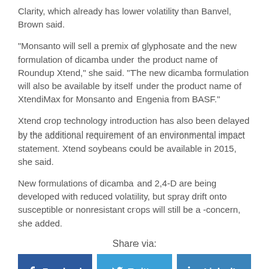Clarity, which already has lower volatility than Banvel, Brown said.
“Monsanto will sell a premix of glyphosate and the new formulation of dicamba under the product name of Roundup Xtend,” she said. “The new dicamba formulation will also be available by itself under the product name of XtendiMax for Monsanto and Engenia from BASF.”
Xtend crop technology introduction has also been delayed by the additional requirement of an environmental impact statement. Xtend soybeans could be available in 2015, she said.
New formulations of dicamba and 2,4-D are being developed with reduced volatility, but spray drift onto susceptible or nonresistant crops will still be a -concern, she added.
Share via:
[Figure (infographic): Social share buttons: Facebook, Twitter, LinkedIn, Email, Print]